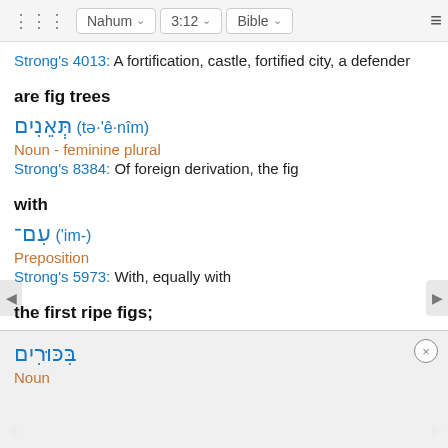Nahum | 3:12 | Bible
Strong's 4013: A fortification, castle, fortified city, a defender
are fig trees
תְּאֵנִים (tə·'ê·nîm)
Noun - feminine plural
Strong's 8384: Of foreign derivation, the fig
with
עִם־ ('im-)
Preposition
Strong's 5973: With, equally with
the first ripe figs;
בִּכּוּרִים
Noun